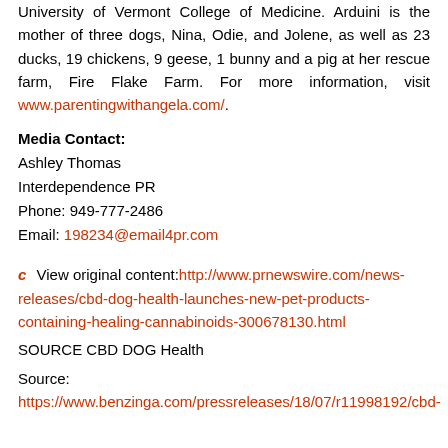University of Vermont College of Medicine. Arduini is the mother of three dogs, Nina, Odie, and Jolene, as well as 23 ducks, 19 chickens, 9 geese, 1 bunny and a pig at her rescue farm, Fire Flake Farm. For more information, visit www.parentingwithangela.com/.
Media Contact:
Ashley Thomas
Interdependence PR
Phone: 949-777-2486
Email: 198234@email4pr.com
C  View original content:http://www.prnewswire.com/news-releases/cbd-dog-health-launches-new-pet-products-containing-healing-cannabinoids-300678130.html
SOURCE CBD DOG Health
Source:
https://www.benzinga.com/pressreleases/18/07/r11998192/cbd-